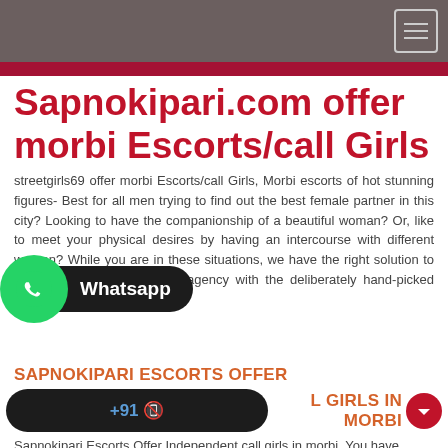Sapnokipari.com offer morbi Escorts/call Girls
streetgirls69 offer morbi Escorts/call Girls, Morbi escorts of hot stunning figures- Best for all men trying to find out the best female partner in this city? Looking to have the companionship of a beautiful woman? Or, like to meet your physical desires by having an intercourse with different women? While you are in these situations, we have the right solution to you. We have developed rt agency with the deliberately hand-picked girls from
[Figure (other): WhatsApp button with green circle icon and black pill-shaped button showing 'Whatsapp']
SAPNOKIPARI ESCORTS OFFER
+91 📵
L GIRLS IN MORBI
Sapnokipari Escorts Offer Independent call girls in morbi, You have